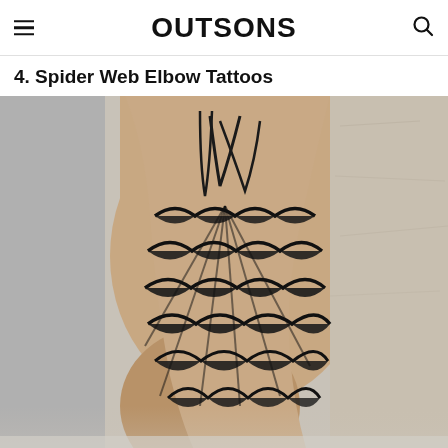OUTSONS
4. Spider Web Elbow Tattoos
[Figure (photo): Close-up photograph of a spider web elbow tattoo on a person's arm. The tattoo features bold black ink with a traditional spider web design wrapping around the elbow, with scalloped web sections and shadowed arcs. The arm is bent, showing the tattoo from the side. Background shows a concrete/stone wall texture and grey clothing.]